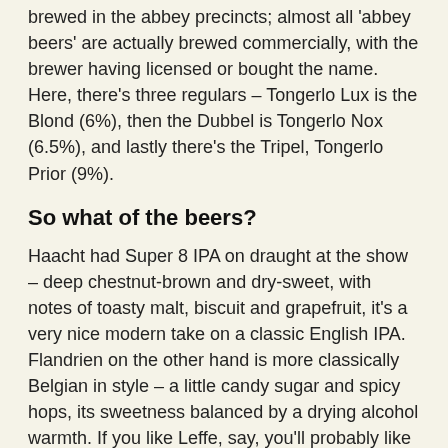brewed in the abbey precincts; almost all 'abbey beers' are actually brewed commercially, with the brewer having licensed or bought the name. Here, there's three regulars – Tongerlo Lux is the Blond (6%), then the Dubbel is Tongerlo Nox (6.5%), and lastly there's the Tripel, Tongerlo Prior (9%).
So what of the beers?
Haacht had Super 8 IPA on draught at the show – deep chestnut-brown and dry-sweet, with notes of toasty malt, biscuit and grapefruit, it's a very nice modern take on a classic English IPA. Flandrien on the other hand is more classically Belgian in style – a little candy sugar and spicy hops, its sweetness balanced by a drying alcohol warmth. If you like Leffe, say, you'll probably like this.
Why two Belgian Blond ales in the mix? Well, Tongerlo Lux is noticeably different from Flandrien – sweetish, yes, but with estery notes of melon and spiced apple,
[Figure (photo): Photo of beer bottles and glasses at a show or event, with shelves of bottles visible in the background]